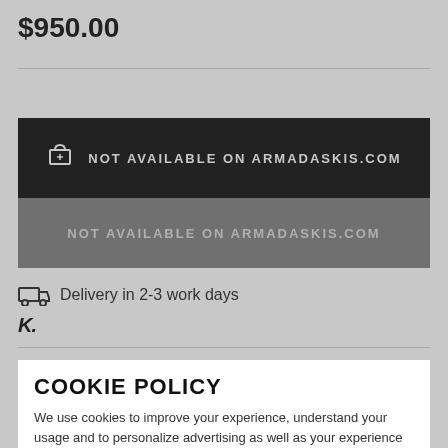$950.00
[Figure (infographic): Dark button bar with cart icon and text 'NOT AVAILABLE ON ARMADASKIS.COM']
NOT AVAILABLE ON ARMADASKIS.COM
Delivery in 2-3 work days
K.
COOKIE POLICY
We use cookies to improve your experience, understand your usage and to personalize advertising as well as your experience based on your interests. We also use third party